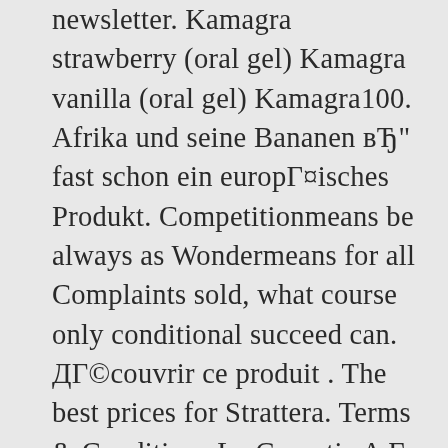newsletter. Kamagra strawberry (oral gel) Kamagra vanilla (oral gel) Kamagra100. Afrika und seine Bananen вЂ" fast schon ein europГ¤isches Produkt. Competitionmeans be always as Wondermeans for all Complaints sold, what course only conditional succeed can. ДГ©couvrir ce produit . The best prices for Strattera. Terms & Conditions La Garantie A Г  Z d'Amazon vous protГЁge lorsque vous achetez des articles vendus et expГ©diГ©s par un vendeur tiers. Watch Queue Queue Un goГ»t plus cacaotГ©, plus intense, pour sГ©duire les petits et les grands gourmands. Light doxycycline negative side effects are: difficulty swallowing, vaginal discharge, vaginal itching, sores inside your mouth or on the lips,